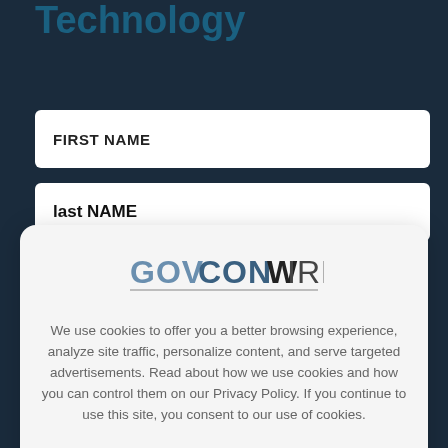Technology
FIRST NAME
last NAME
[Figure (logo): GOVCONWIRE logo — 'GOVCON' in blue/grey and 'WIRE' in dark with a line underneath]
We use cookies to offer you a better browsing experience, analyze site traffic, personalize content, and serve targeted advertisements. Read about how we use cookies and how you can control them on our Privacy Policy. If you continue to use this site, you consent to our use of cookies.
X